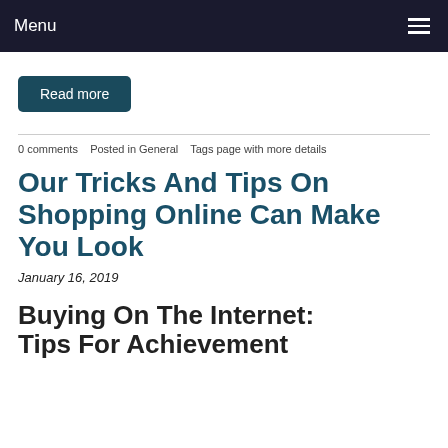Menu
Read more
0 comments   Posted in General   Tags page with more details
Our Tricks And Tips On Shopping Online Can Make You Look
January 16, 2019
Buying On The Internet: Tips For Achievement